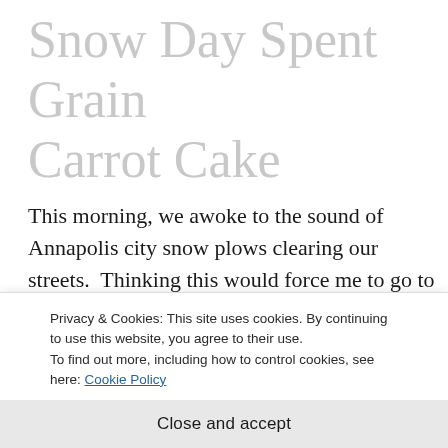Snow Day Spent Grain Carrot Cake
This morning, we awoke to the sound of Annapolis city snow plows clearing our streets.  Thinking this would force me to go to work I silently cursed them.  Luckily for me, the snow plows cleared snow and simultaneously turned our street into the perfect venue for Olympia
Privacy & Cookies: This site uses cookies. By continuing to use this website, you agree to their use.
To find out more, including how to control cookies, see here: Cookie Policy
Close and accept